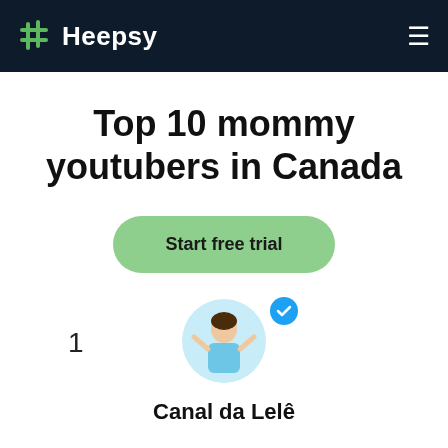Heepsy
Top 10 mommy youtubers in Canada
Start free trial
1
[Figure (photo): Profile photo of Canal da Lelê influencer, a woman in a light blue top with arms raised, with a blue verified checkmark badge]
Canal da Lelê